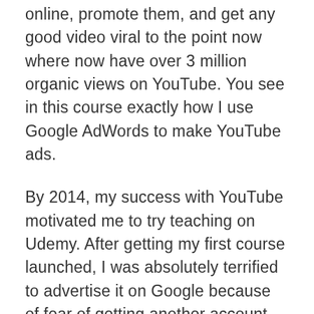online, promote them, and get any good video viral to the point now where now have over 3 million organic views on YouTube. You see in this course exactly how I use Google AdWords to make YouTube ads.
By 2014, my success with YouTube motivated me to try teaching on Udemy. After getting my first course launched, I was absolutely terrified to advertise it on Google because of fear of getting another account suspended. A Google AdWords specialist setup all of the first ads for my Udemy course for me and gave me new courage to move forward with Google AdWords using